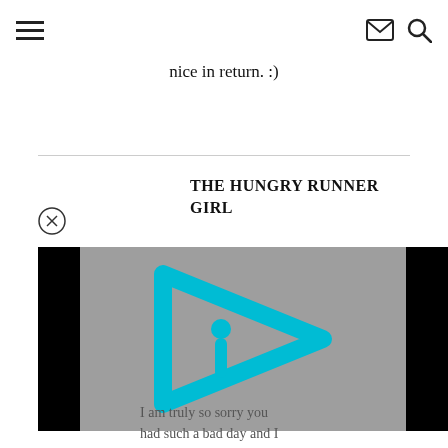☰  ✉ 🔍
nice in return. :)
THE HUNGRY RUNNER GIRL
[Figure (logo): The Hungry Runner Girl blog logo — a cyan/teal play-button triangle with a stylized 'i' inside on a grey background, flanked by black bars (video player style)]
I am truly so sorry you had such a bad day and I